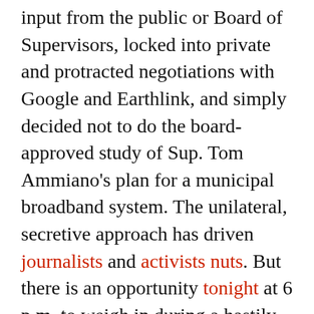input from the public or Board of Supervisors, locked into private and protracted negotiations with Google and Earthlink, and simply decided not to do the board-approved study of Sup. Tom Ammiano's plan for a municipal broadband system. The unilateral, secretive approach has driven journalists and activists nuts. But there is an opportunity tonight at 6 p.m. to weigh in during a hastily called and little noticed hearing before the Department of Telecom and Info Services. Media Alliance has been raising hell over the issue and this week the group is releasing a study showing that the city could make $2 million per year with a municipal Internet system, as opposed to going with Newsom's so-called “free” system, which wouldn’t make the city any money and would